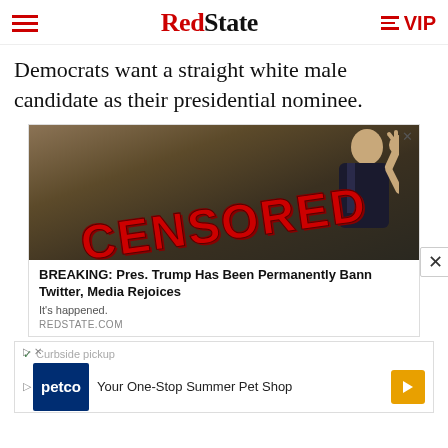RedState | VIP
Democrats want a straight white male candidate as their presidential nominee.
[Figure (photo): Photo of a person waving with a large red CENSORED stamp overlaid diagonally across the image.]
BREAKING: Pres. Trump Has Been Permanently Bann Twitter, Media Rejoices
It's happened.
REDSTATE.COM
[Figure (screenshot): Petco advertisement banner: checkmark Curbside pickup. Your One-Stop Summer Pet Shop with Petco logo and navigation arrow.]